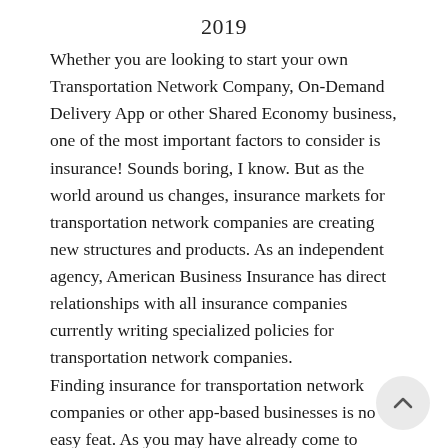2019
Whether you are looking to start your own Transportation Network Company, On-Demand Delivery App or other Shared Economy business, one of the most important factors to consider is insurance! Sounds boring, I know. But as the world around us changes, insurance markets for transportation network companies are creating new structures and products. As an independent agency, American Business Insurance has direct relationships with all insurance companies currently writing specialized policies for transportation network companies.
Finding insurance for transportation network companies or other app-based businesses is no easy feat. As you may have already come to realize, most of your local brokers who specialize